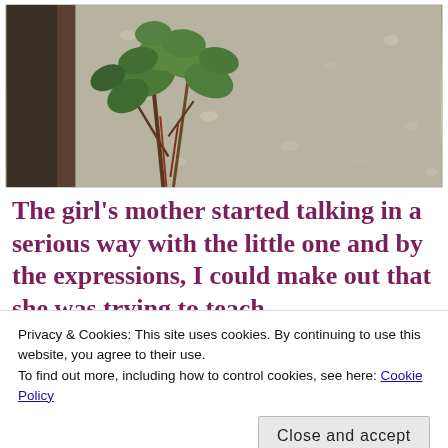[Figure (photo): A photo of a green leafy plant growing in a gravel/pebble garden bed, with a dark wooden border or edging visible on the left side.]
The girl's mother started talking in a serious way with the little one and by the expressions, I could make out that she was trying to teach
Privacy & Cookies: This site uses cookies. By continuing to use this website, you agree to their use.
To find out more, including how to control cookies, see here: Cookie Policy
Close and accept
something and I saw the mother giving her 2